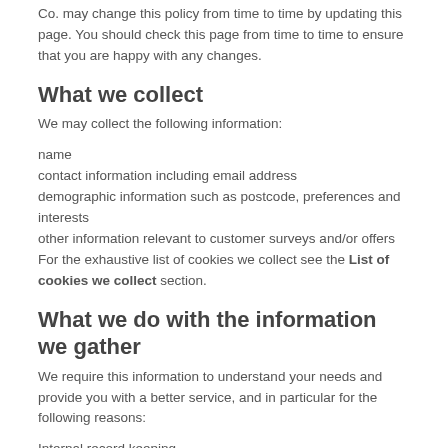Co. may change this policy from time to time by updating this page. You should check this page from time to time to ensure that you are happy with any changes.
What we collect
We may collect the following information:
name
contact information including email address
demographic information such as postcode, preferences and interests
other information relevant to customer surveys and/or offers
For the exhaustive list of cookies we collect see the List of cookies we collect section.
What we do with the information we gather
We require this information to understand your needs and provide you with a better service, and in particular for the following reasons:
Internal record keeping.
We may use the information to improve our products and services.
We may periodically send promotional emails about new products, special offers or other information which we think you may find interesting using the email address which you have provided.